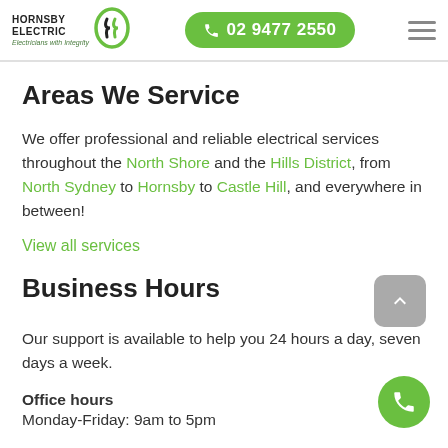Hornsby Electric — Electricians with Integrity | 02 9477 2550
Areas We Service
We offer professional and reliable electrical services throughout the North Shore and the Hills District, from North Sydney to Hornsby to Castle Hill, and everywhere in between!
View all services
Business Hours
Our support is available to help you 24 hours a day, seven days a week.
Office hours
Monday-Friday: 9am to 5pm